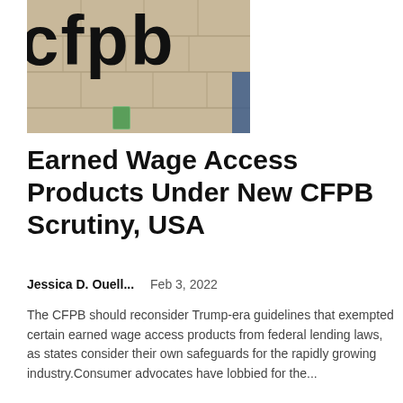[Figure (photo): Photograph of CFPB building exterior showing large 'cfpb' letters on a stone wall facade]
Earned Wage Access Products Under New CFPB Scrutiny, USA
Jessica D. Ouell...    Feb 3, 2022
The CFPB should reconsider Trump-era guidelines that exempted certain earned wage access products from federal lending laws, as states consider their own safeguards for the rapidly growing industry.Consumer advocates have lobbied for the...